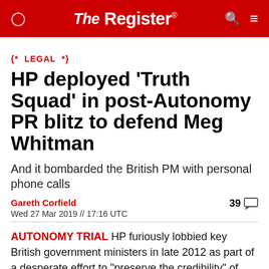The Register
{* LEGAL *}
HP deployed 'Truth Squad' in post-Autonomy PR blitz to defend Meg Whitman
And it bombarded the British PM with personal phone calls
Gareth Corfield
Wed 27 Mar 2019 // 17:16 UTC
39 comments
AUTONOMY TRIAL HP furiously lobbied key British government ministers in late 2012 as part of a desperate effort to "preserve the credibility" of CEO Meg Whitman after its $8.8bn writedown of Autonomy –